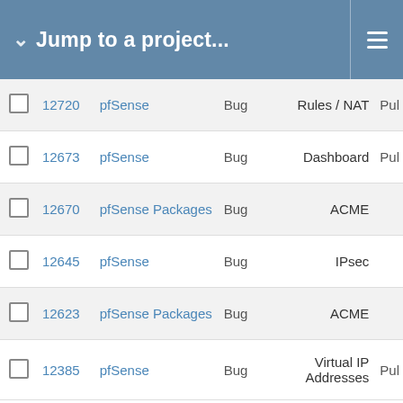Jump to a project...
|  | # | Project | Type | Category |  |
| --- | --- | --- | --- | --- | --- |
|  | 12720 | pfSense | Bug | Rules / NAT | Pul |
|  | 12673 | pfSense | Bug | Dashboard | Pul |
|  | 12670 | pfSense Packages | Bug | ACME |  |
|  | 12645 | pfSense | Bug | IPsec |  |
|  | 12623 | pfSense Packages | Bug | ACME |  |
|  | 12385 | pfSense | Bug | Virtual IP Addresses | Pul |